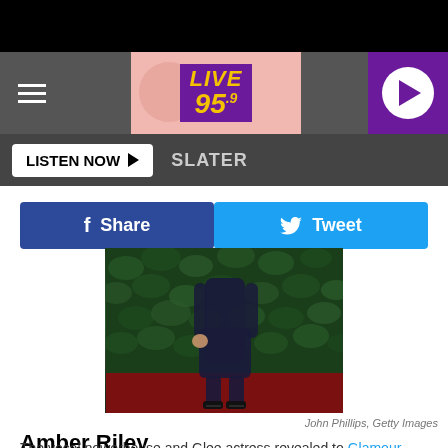[Figure (screenshot): Website header for LIVE 95.9 radio station with hamburger menu, logo, and purple play button]
LISTEN NOW ▶   SLATER
[Figure (other): Facebook Share button and Twitter Tweet button]
[Figure (photo): Photo of Amber Riley in a dark sparkly form-fitting dress in front of a green leaf backdrop and red carpet]
John Phillips, Getty Images
Amber Riley
The vocal powerhouse and Glee actress revealed to Glamour